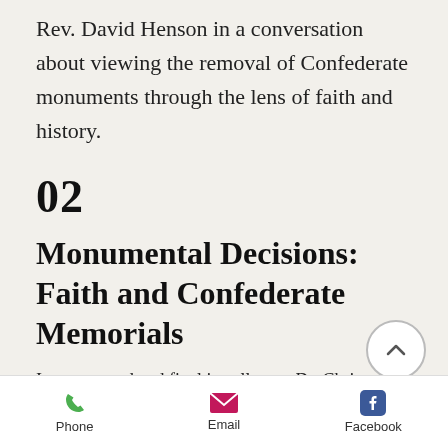Rev. David Henson in a conversation about viewing the removal of Confederate monuments through the lens of faith and history.
02
Monumental Decisions: Faith and Confederate Memorials
In our second and final installment, Dr. Christopher Graham, curator of exhibitions at the American Civil War Museum and historian at St. Paul's in Richmond discusses how his parish h... addressed its racial legacy from the C... War and beyond and how it's impacted...